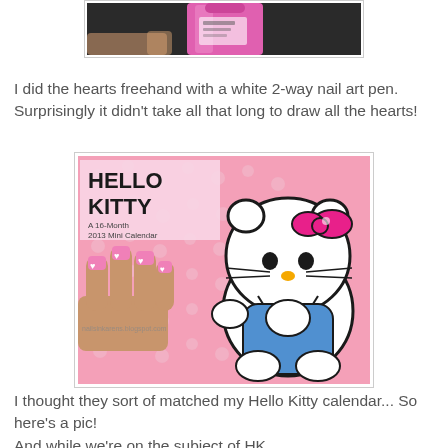[Figure (photo): Top portion of a pink nail polish bottle against a dark background, partially cropped]
I did the hearts freehand with a white 2-way nail art pen. Surprisingly it didn't take all that long to draw all the hearts!
[Figure (photo): A hand with pink nails featuring white heart designs placed next to a Hello Kitty 16-Month 2013 Mini Calendar. Hello Kitty character is shown in full against a pink polka dot background.]
I thought they sort of matched my Hello Kitty calendar... So here's a pic!
And while we're on the subject of HK...